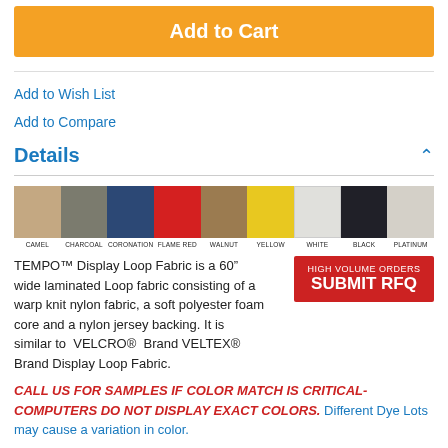Add to Cart
Add to Wish List
Add to Compare
Details
[Figure (illustration): Color swatches strip showing 9 fabric colors: CAMEL, CHARCOAL, CORONATION, FLAME RED, WALNUT, YELLOW, WHITE, BLACK, PLATINUM]
TEMPO™ Display Loop Fabric is a 60" wide laminated Loop fabric consisting of a warp knit nylon fabric, a soft polyester foam core and a nylon jersey backing. It is similar to VELCRO® Brand VELTEX® Brand Display Loop Fabric.
CALL US FOR SAMPLES IF COLOR MATCH IS CRITICAL- COMPUTERS DO NOT DISPLAY EXACT COLORS. Different Dye Lots may cause a variation in color.
Properties of the other Tempo